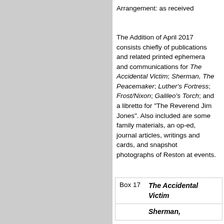Arrangement: as received
The Addition of April 2017 consists chiefly of publications and related printed ephemera and communications for The Accidental Victim; Sherman, The Peacemaker; Luther's Fortress; Frost/Nixon; Galileo's Torch; and a libretto for "The Reverend Jim Jones". Also included are some family materials, an op-ed, journal articles, writings and cards, and snapshot photographs of Reston at events.
| Box | Title |
| --- | --- |
| Box 17 | The Accidental Victim |
|  | Sherman, |